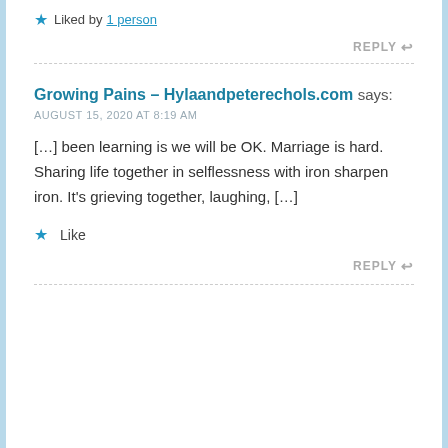Liked by 1 person
REPLY
Growing Pains – Hylaandpeterechols.com says:
AUGUST 15, 2020 AT 8:19 AM
[…] been learning is we will be OK. Marriage is hard. Sharing life together in selflessness with iron sharpen iron. It's grieving together, laughing, […]
Like
REPLY